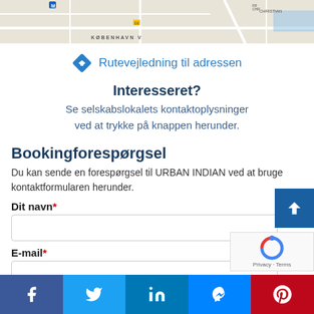[Figure (map): Map showing KØBENHAVN V area with streets and landmarks]
Rutevejledning til adressen
Interesseret?
Se selskabslokalets kontaktoplysninger ved at trykke på knappen herunder.
Bookingforespørgsel
Du kan sende en forespørgsel til URBAN INDIAN ved at bruge kontaktformularen herunder.
Dit navn*
E-mail*
f  Twitter  in  Messenger  Pinterest